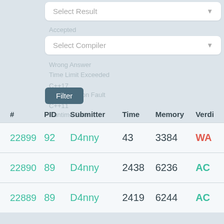[Figure (screenshot): Select Result dropdown box (UI element)]
[Figure (screenshot): Select Compiler dropdown box with ghost text options: Accepted, Wrong Answer, Time Limit Exceeded, C++17, Segmentation Fault, C++11, Runtime Error, c80, c11, r99]
[Figure (screenshot): Filter button]
| # | PID | Submitter | Time | Memory | Verdi |
| --- | --- | --- | --- | --- | --- |
| 22899 | 92 | D4nny | 43 | 3384 | WA |
| 22890 | 89 | D4nny | 2438 | 6236 | AC |
| 22889 | 89 | D4nny | 2419 | 6244 | AC |